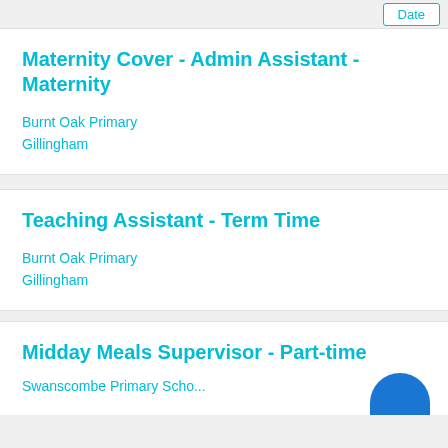Date
Maternity Cover - Admin Assistant - Maternity
Burnt Oak Primary
Gillingham
Teaching Assistant - Term Time
Burnt Oak Primary
Gillingham
Midday Meals Supervisor - Part-time